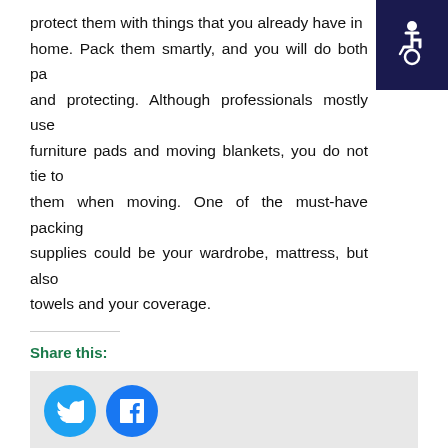protect them with things that you already have in home. Pack them smartly, and you will do both pa and protecting. Although professionals mostly use furniture pads and moving blankets, you do not tie to them when moving. One of the must-have packing supplies could be your wardrobe, mattress, but also towels and your coverage.
Share this:
[Figure (other): Twitter and Facebook share buttons]
Related
How to prepare for moving to Hallandale Beach FL
July 30, 2022
In "before the move"
Tips for moving from Miami to Coral Springs in 2022
August 31, 2022
In "Moving from/to"